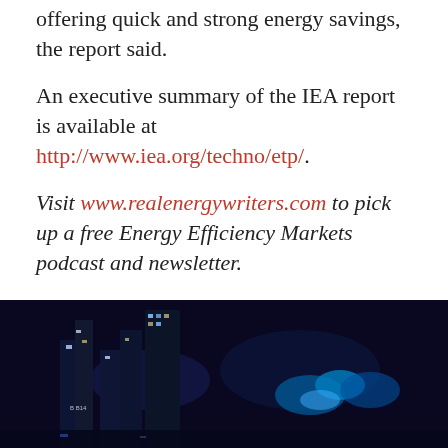offering quick and strong energy savings, the report said.
An executive summary of the IEA report is available at http://www.iea.org/techno/etp/.
Visit www.realenergywriters.com to pick up a free Energy Efficiency Markets podcast and newsletter.
Share with your followers
[Figure (photo): Nighttime cityscape photo showing illuminated buildings and urban lights]